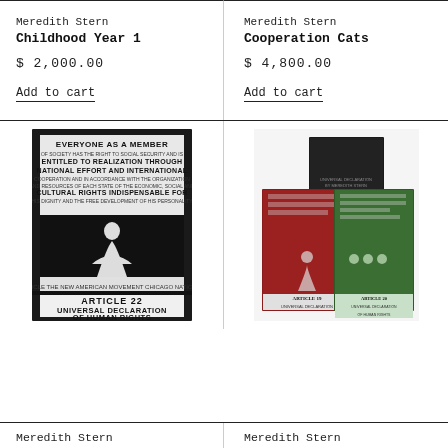Meredith Stern
Childhood Year 1
$ 2,000.00
Add to cart
Meredith Stern
Cooperation Cats
$ 4,800.00
Add to cart
[Figure (illustration): Black and white print reading ARTICLE 22 UNIVERSAL DECLARATION OF HUMAN RIGHTS with figure imagery]
[Figure (illustration): Collection of printed booklets in black, red and green colors about Universal Declaration of Human Rights]
Meredith Stern
Meredith Stern